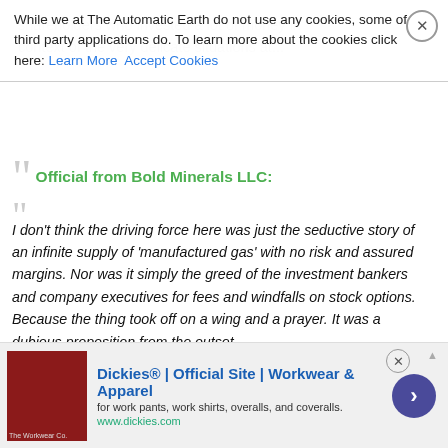While we at The Automatic Earth do not use any cookies, some of our third party applications do. To learn more about the cookies click here: Learn More  Accept Cookies
Official from Bold Minerals LLC:
I don't think the driving force here was just the seductive story of an infinite supply of 'manufactured gas' with no risk and assured margins. Nor was it simply the greed of the investment bankers and company executives for fees and windfalls on stock options. Because the thing took off on a wing and a prayer. It was a dubious proposition from the outset.
The indicators of a potential disaster which I set out above would be obvious to any senior manager in an oil company. They were flashing warning lights, so why was caution thrown to the wind? Desperation. The conventional exploration game has gotten so tough domestically that managements were willing to grab on to anything
[Figure (other): Advertisement banner for Dickies workwear showing a photo of leather seating, brand name, tagline, and website URL www.dickies.com]